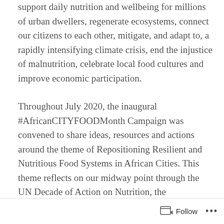support daily nutrition and wellbeing for millions of urban dwellers, regenerate ecosystems, connect our citizens to each other, mitigate, and adapt to, a rapidly intensifying climate crisis, end the injustice of malnutrition, celebrate local food cultures and improve economic participation.
Throughout July 2020, the inaugural #AfricanCITYFOODMonth Campaign was convened to share ideas, resources and actions around the theme of Repositioning Resilient and Nutritious Food Systems in African Cities. This theme reflects on our midway point through the UN Decade of Action on Nutrition, the commencement of a Decade of Action for
Follow •••